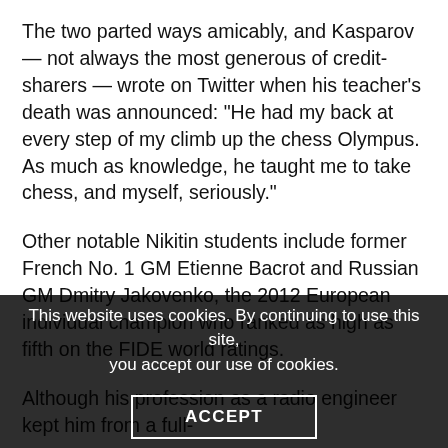The two parted ways amicably, and Kasparov — not always the most generous of credit-sharers — wrote on Twitter when his teacher's death was announced: “He had my back at every step of my climb up the chess Olympus. As much as knowledge, he taught me to take chess, and myself, seriously.”
Other notable Nikitin students include former French No. 1 GM Etienne Bacrot and Russian GM Dmitry Jakovenko, the 2012 European individual champion who ranked as high as fifth on the FIDE world ratings.
Although his profession as a radio engineer kept him from a full-
This website uses cookies. By continuing to use this site, you accept our use of cookies.
ACCEPT